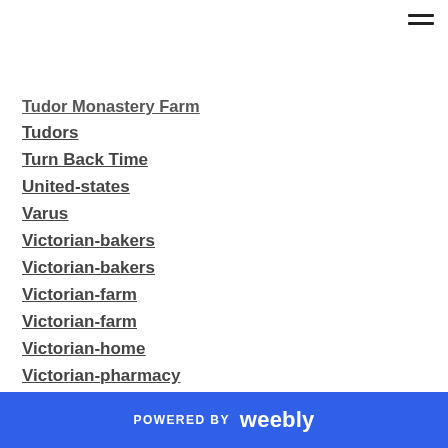Tudor Monastery Farm
Tudors
Turn Back Time
United-states
Varus
Victorian-bakers
Victorian-bakers
Victorian-farm
Victorian-farm
Victorian-home
Victorian-pharmacy
Vikings
Warsaw Ghetto
Wartime Farm
White Palace
POWERED BY weebly